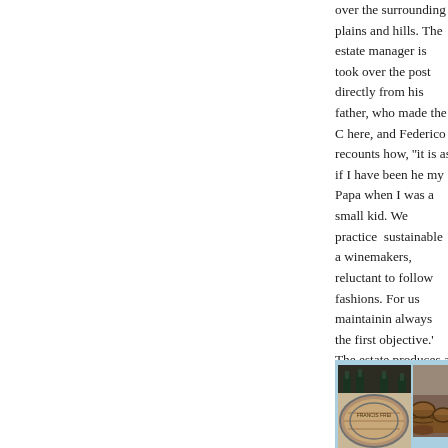over the surrounding plains and hills. The estate manager is took over the post directly from his father, who made the C here, and Federico recounts how, ''it is as if I have been he my Papa when I was a small kid. We practice sustainable a winemakers, reluctant to follow fashions. For us maintainin always the first objective.' The estate produces a massive 4 like Chardonnay, Sauvignon, Cabernet, Merlot and even s grapes of Ribolla Gialla, Malvasia, Verduzzo, Picolit and P Tazzelenghe, which only really reveals its elegance and con proud of our Tazzelenghe,' says Federico, ' a singular wine estates left making this wine from a mere 10 hectares, so th
[Figure (photo): Photo of wine bottles with labels showing a red logo/crest, arranged on a table with wine glasses containing red wine]
[Figure (photo): Photo of wine barrels in a cellar or winery storage area, visible on the right side]
[Figure (photo): Photo of a wine barrel with 'FRANCIS FREI...' text visible on it, bottom portion of page]